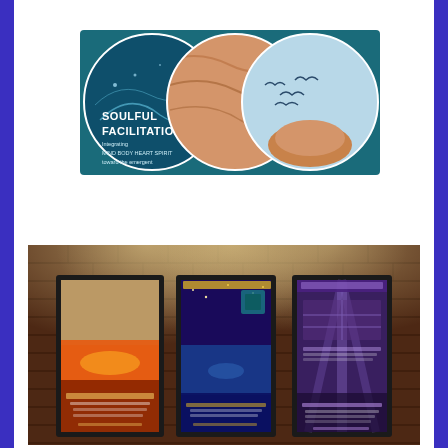[Figure (illustration): Soulful Facilitation logo/banner showing three overlapping circles with nature-themed images: a teal ocean/galaxy scene on the left with white text reading 'SOULFUL FACILITATION - Integrating MIND BODY HEART SPIRIT toward the emergent', a sandy canyon texture in the middle, and a bird/pottery scene on the right.]
[Figure (photo): Three framed posters displayed on a brick wall with spotlights. Left poster has a sunset over water scene. Middle poster has a dark blue space/ocean theme with star elements. Right poster has a purple/violet tone with light rays. All three appear to be inspirational or motivational prints.]